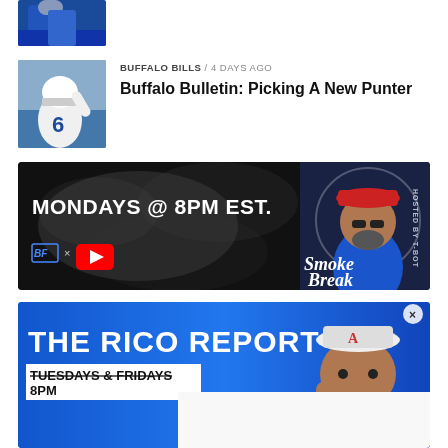[Figure (photo): Partial top photo of a person in blue jacket, cut off at top of page]
BUFFALO BILLS / 4 days ago
Buffalo Bulletin: Picking A New Punter
[Figure (photo): Football player wearing white jersey with number 6, throwing or kicking]
[Figure (illustration): Smoke Break show banner: MONDAYS @ 8PM EST. with BF logo x YouTube button and animated cartoon host character with red cap. Text: Smoke Break, Hosted By T-Bot]
[Figure (illustration): The Rico Report banner in blue: THE RICO REPORT, TUESDAYS & FRIDAYS, 8PM, with cartoon character illustration]